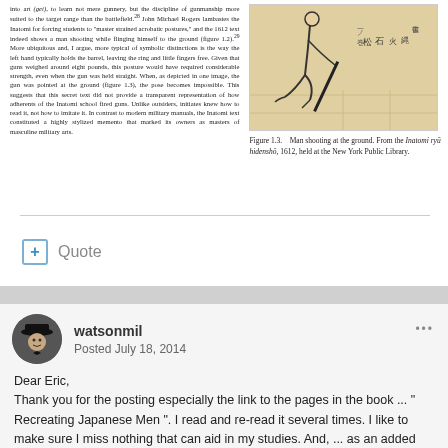into art (gei), to learn not mere gunnery, but the discipline of gunmanship more suited to the target range than the battlefield.28 John Michael Rogers lambastes the Inatomi for forcing students to "master strained acrobatic postures," and the 1612 text indeed shows a man shooting while flinging himself to the ground (figure 1.2).29 More ubiquitous and, I argue, more typical of symbolic distinctions is the way the left hand typically holds the barrel, leaving the ring and little fingers free. Given that guns weighed around eight pounds, this posture would have required considerable strength, even when the gun was held straight. When, as depicted in one image, the gun was pointed at the ground (figure 1.3), the pose becomes impossible. This suggests that this secret text did not provide a transparent representation of how adherents of the Inatomi school fired guns. Unlike outsiders, initiates knew how to read it, not how to imitate it. In contrast to modern military manuals, the Inatomi text constituted a highly stylized memento that marked its owners as masters of masculine military arts.
[Figure (illustration): Japanese illustration of a man shooting at the ground, with Japanese text/calligraphy, from the Inatomi ryū hidenshō, 1612]
Figure 1.3.    Man shooting at the ground. From the Inatomi ryū hidenshō, 1612, held at the New York Public Library.
+ Quote
watsonmil
Posted July 18, 2014
Dear Eric,
Thank you for the posting especially the link to the pages in the book ... " Recreating Japanese Men ". I read and re-read it several times. I like to make sure I miss nothing that can aid in my studies. And, ... as an added bonus you got us ( me ) back on the